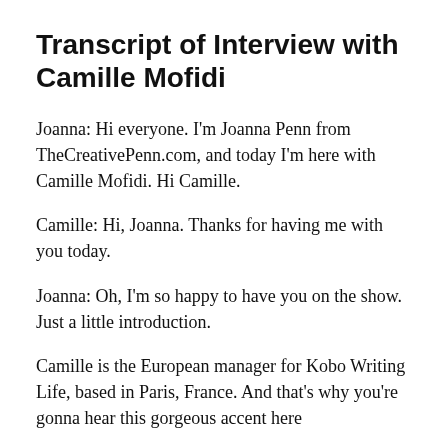Transcript of Interview with Camille Mofidi
Joanna: Hi everyone. I'm Joanna Penn from TheCreativePenn.com, and today I'm here with Camille Mofidi. Hi Camille.
Camille: Hi, Joanna. Thanks for having me with you today.
Joanna: Oh, I'm so happy to have you on the show. Just a little introduction.
Camille is the European manager for Kobo Writing Life, based in Paris, France. And that's why you're gonna hear this gorgeous accent here